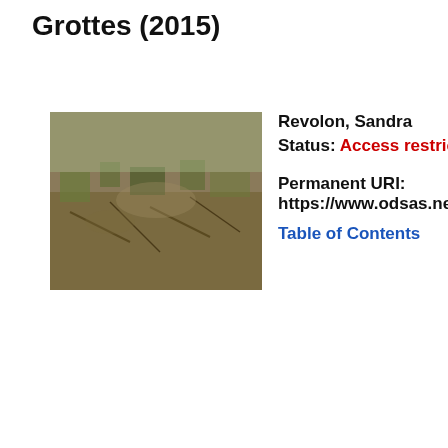Grottes (2015)
[Figure (photo): Thumbnail photograph of a dirt and dry grass ground surface, outdoor scene]
Revolon, Sandra
Status: Access restricted
Permanent URI:
https://www.odsas.net/set/2434
Table of Contents
Desc
[no descr availa
Tech infor
Set(s | Digi task: Numb Objec Form origin photo films